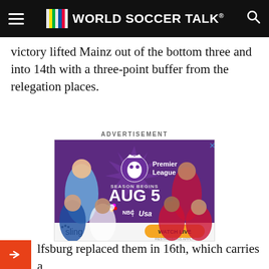WORLD SOCCER TALK
victory lifted Mainz out of the bottom three and into 14th with a three-point buffer from the relegation places.
ADVERTISEMENT
[Figure (photo): Premier League Season Begins AUG 5 advertisement featuring football players, NBC and USA Network logos, Sling TV branding with a 'WATCH LIVE' button and 'RESTRICTIONS APPLY.' text.]
lfsburg replaced them in 16th, which carries a